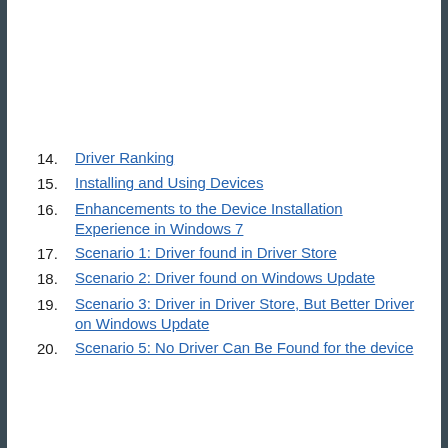14. Driver Ranking
15. Installing and Using Devices
16. Enhancements to the Device Installation Experience in Windows 7
17. Scenario 1: Driver found in Driver Store
18. Scenario 2: Driver found on Windows Update
19. Scenario 3: Driver in Driver Store, But Better Driver on Windows Update
20. Scenario 5: No Driver Can Be Found for the device